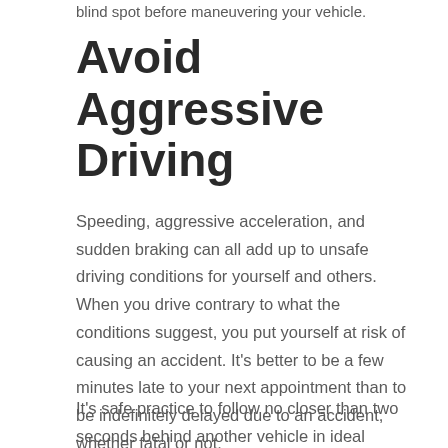blind spot before maneuvering your vehicle.
Avoid Aggressive Driving
Speeding, aggressive acceleration, and sudden braking can all add up to unsafe driving conditions for yourself and others. When you drive contrary to what the conditions suggest, you put yourself at risk of causing an accident. It's better to be a few minutes late to your next appointment than to be indefinitely delayed due to an accident, whether fatal or not.
It's safe practice to follow no closer than two seconds behind another vehicle in ideal conditions; four